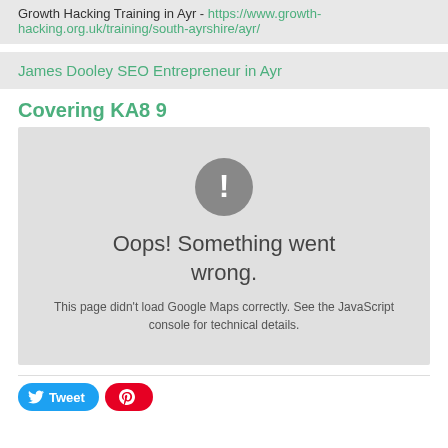Growth Hacking Training in Ayr - https://www.growth-hacking.org.uk/training/south-ayrshire/ayr/
James Dooley SEO Entrepreneur in Ayr
Covering KA8 9
[Figure (screenshot): Google Maps error state showing a grey box with an exclamation mark icon and the text 'Oops! Something went wrong. This page didn't load Google Maps correctly. See the JavaScript console for technical details.']
Tweet  (social share buttons)